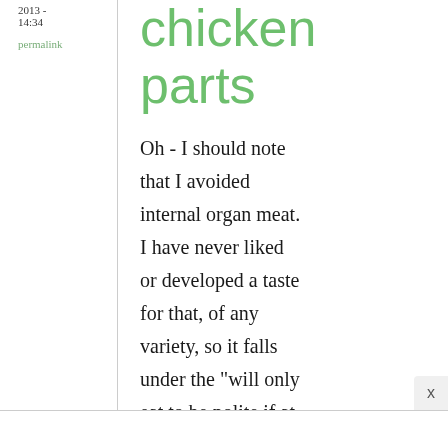2013 - 14:34
permalink
chicken parts
Oh - I should note that I avoided internal organ meat. I have never liked or developed a taste for that, of any variety, so it falls under the "will only eat to be polite if at